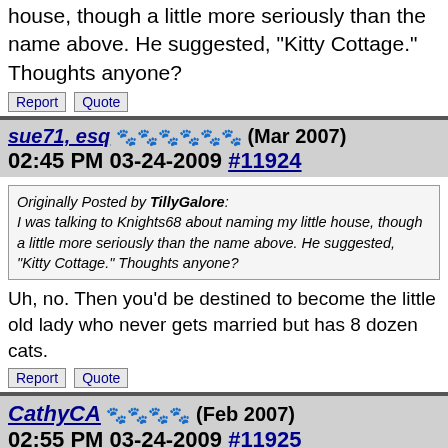house, though a little more seriously than the name above. He suggested, "Kitty Cottage." Thoughts anyone?
Report  Quote
sue71, esq ✿✿✿✿✿✿ (Mar 2007)
02:45 PM 03-24-2009 #11924
Originally Posted by TillyGalore:
I was talking to Knights68 about naming my little house, though a little more seriously than the name above. He suggested, "Kitty Cottage." Thoughts anyone?
Uh, no. Then you'd be destined to become the little old lady who never gets married but has 8 dozen cats.
Report  Quote
CathyCA ✿✿✿✿ (Feb 2007)
02:55 PM 03-24-2009 #11925
Originally Posted by TillyGalore:
In the "Dog gone" thread Windsor reminded me I one of my post 20